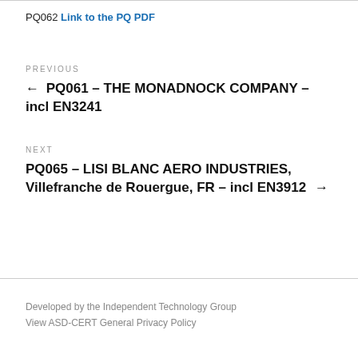PQ062 Link to the PQ PDF
PREVIOUS
← PQ061 – THE MONADNOCK COMPANY – incl EN3241
NEXT
PQ065 – LISI BLANC AERO INDUSTRIES, Villefranche de Rouergue, FR – incl EN3912 →
Developed by the Independent Technology Group
View ASD-CERT General Privacy Policy